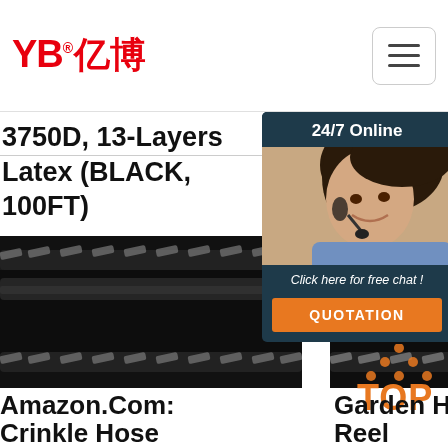YB亿博® logo with hamburger menu button
3750D, 13-Layers Latex (BLACK, 100FT)
[Figure (photo): Green 'Get Price' button (top center)]
[Figure (photo): Chat widget with '24/7 Online' header, female customer service agent photo, 'Click here for free chat!' text, and orange QUOTATION button]
[Figure (photo): Green 'Get Price' button (bottom left)]
[Figure (photo): Black reinforced rubber/latex hose product image (left)]
[Figure (photo): Black reinforced rubber/latex hose product image (center)]
[Figure (photo): TOP icon with orange dot pattern]
Amazon.Com: Crinkle Hose
Garden Hose Reel
Amayrose Garden Hose